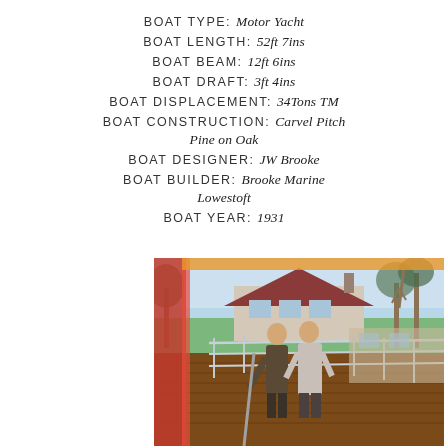BOAT TYPE: Motor Yacht
BOAT LENGTH: 52ft 7ins
BOAT BEAM: 12ft 6ins
BOAT DRAFT: 3ft 4ins
BOAT DISPLACEMENT: 34Tons TM
BOAT CONSTRUCTION: Carvel Pitch Pine on Oak
BOAT DESIGNER: JW Brooke
BOAT BUILDER: Brooke Marine Lowestoft
BOAT YEAR: 1931
[Figure (photo): Two people standing on the deck of a motor yacht, with a red flag/sail visible on the left, metal railings, a house and bare trees in the background under a blue sky.]